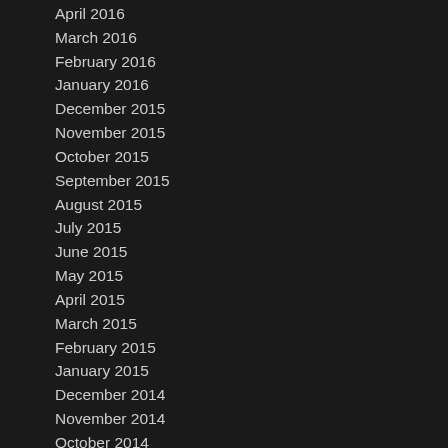April 2016
March 2016
February 2016
January 2016
December 2015
November 2015
October 2015
September 2015
August 2015
July 2015
June 2015
May 2015
April 2015
March 2015
February 2015
January 2015
December 2014
November 2014
October 2014
September 2014
August 2014
July 2014
June 2014
May 2014